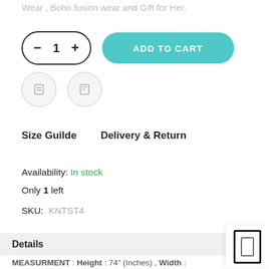Wear , Boho fusion wear and Gift for Her.
- 1 +  ADD TO CART
Size Guilde    Delivery & Return
Availability: In stock
Only 1 left
SKU:  KNTST4
Details
MEASURMENT : Height : 74" (Inches) , Width :